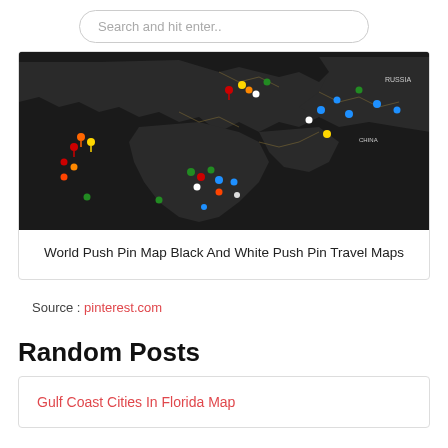Search and hit enter..
[Figure (map): World push pin map with black background and colorful push pins marking locations across Europe, Africa, Middle East, and Asia (Russia, China visible). Multiple colored pins: red, yellow, orange, white, blue, green.]
World Push Pin Map Black And White Push Pin Travel Maps
Source : pinterest.com
Random Posts
Gulf Coast Cities In Florida Map